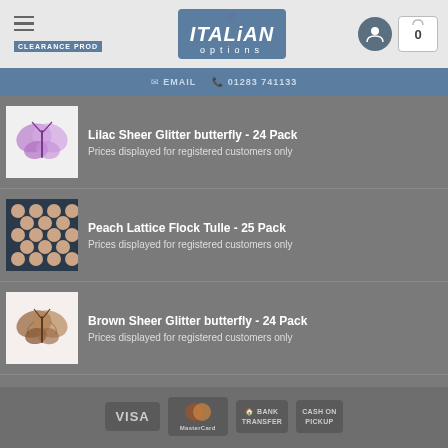[Figure (screenshot): Italian Options website header with logo, hamburger menu, user icon, and cart icon]
EMAIL  01283 741133
Lilac Sheer Glitter butterfly - 24 Pack
Prices displayed for registered customers only
Peach Lattice Flock Tulle - 25 Pack
Prices displayed for registered customers only
Brown Sheer Glitter butterfly - 24 Pack
Prices displayed for registered customers only
[Figure (logo): Payment method logos: VISA, MasterCard, Bank Transfer, Cash on Pickup]
ABOUT US | NEWS | CONTACT US | TERMS OF TRADING | PRIVACY POLICY